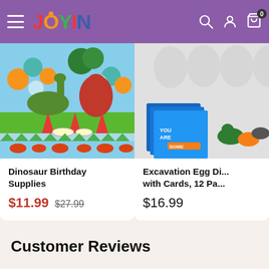JOYIN
[Figure (photo): Dinosaur Birthday Supplies party kit product image showing dinosaur balloons, party hats, table cover, and plates]
Dinosaur Birthday Supplies
$11.99  $27.99
[Figure (photo): Excavation Egg Dinosaur set with greeting cards, 12 pack product image]
Excavation Egg Di... with Cards, 12 Pa...
$16.99
Customer Reviews